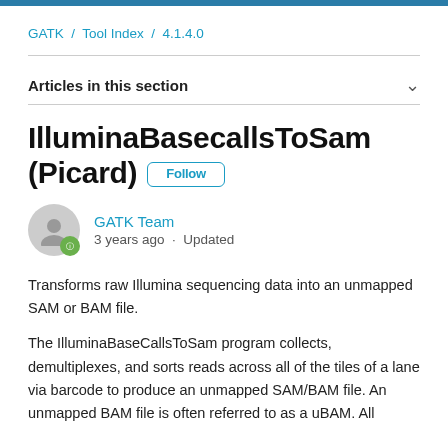GATK / Tool Index / 4.1.4.0
Articles in this section
IlluminaBasecallsToSam (Picard)
GATK Team
3 years ago · Updated
Transforms raw Illumina sequencing data into an unmapped SAM or BAM file.
The IlluminaBaseCallsToSam program collects, demultiplexes, and sorts reads across all of the tiles of a lane via barcode to produce an unmapped SAM/BAM file. An unmapped BAM file is often referred to as a uBAM. All